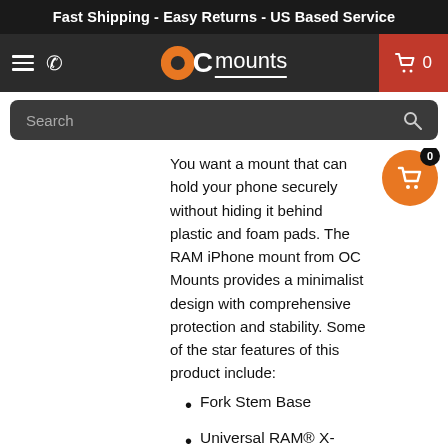Fast Shipping - Easy Returns - US Based Service
[Figure (screenshot): OC Mounts navigation bar with hamburger menu, phone icon, OC Mounts logo, and red shopping cart button showing 0 items]
[Figure (screenshot): Search bar with 'Search' placeholder text and magnifying glass icon]
You want a mount that can hold your phone securely without hiding it behind plastic and foam pads. The RAM iPhone mount from OC Mounts provides a minimalist design with comprehensive protection and stability. Some of the star features of this product include:
Fork Stem Base
Universal RAM® X-Grip® Cradle
Short Double Socket Arm
Device Tether for Outdoor